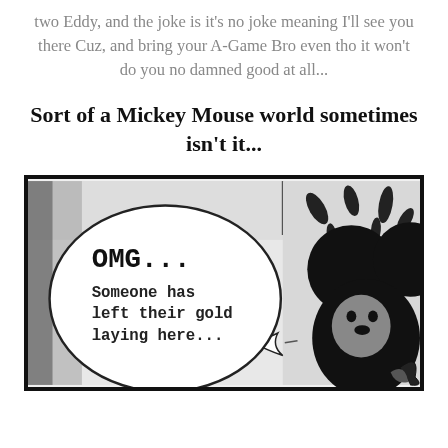two Eddy, and the joke is it's no joke meaning I'll see you there Cuz, and bring your A-Game Bro even tho it won't do you no damned good at all...
Sort of a Mickey Mouse world sometimes isn't it...
[Figure (illustration): Black and white comic strip image of Mickey Mouse silhouette with a speech bubble saying 'OMG... Someone has left their gold laying here...' in monospace font]